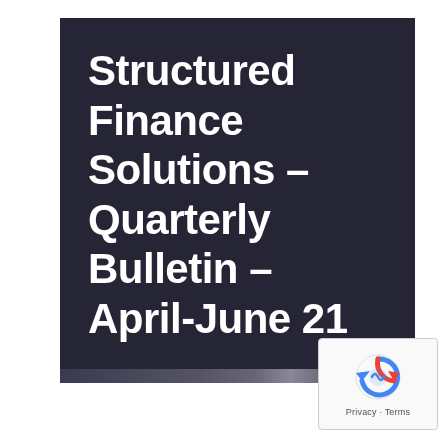Structured Finance Solutions – Quarterly Bulletin – April-June 21
[Figure (logo): reCAPTCHA verification widget with recycle-arrow icon, showing 'Privacy - Terms' text at bottom]